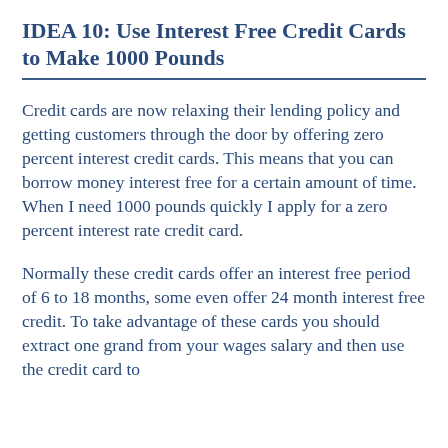IDEA 10: Use Interest Free Credit Cards to Make 1000 Pounds
Credit cards are now relaxing their lending policy and getting customers through the door by offering zero percent interest credit cards. This means that you can borrow money interest free for a certain amount of time. When I need 1000 pounds quickly I apply for a zero percent interest rate credit card.
Normally these credit cards offer an interest free period of 6 to 18 months, some even offer 24 month interest free credit. To take advantage of these cards you should extract one grand from your wages salary and then use the credit card to